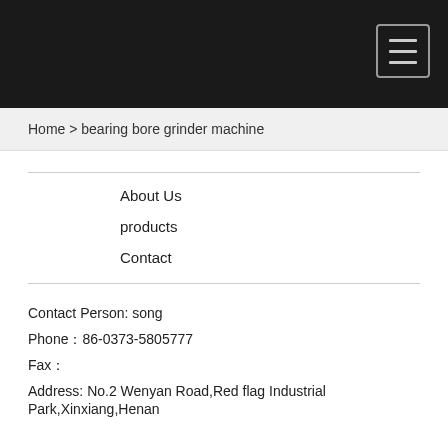Home > bearing bore grinder machine
About Us
products
Contact
Contact Person: song
Phone：86-0373-5805777
Fax：
Address: No.2 Wenyan Road,Red flag Industrial Park,Xinxiang,Henan